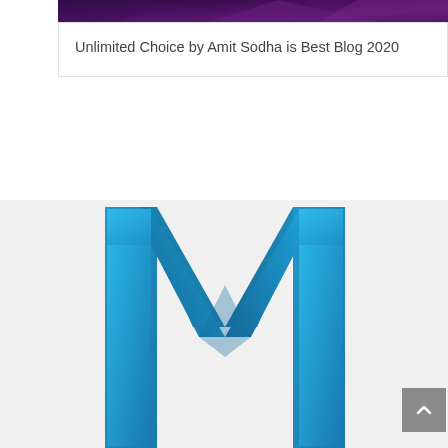[Figure (photo): Dark purple/violet abstract background image banner at the top of the card]
Unlimited Choice by Amit Sodha is Best Blog 2020
[Figure (logo): Large blue stylized letter M logo on a light gray background, representing a media or blog brand]